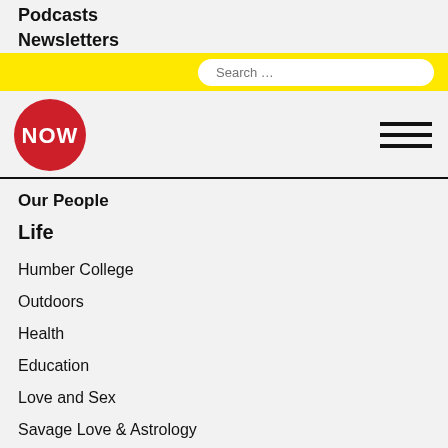Podcasts
Newsletters
Our People
Life
Humber College
Outdoors
Health
Education
Love and Sex
Savage Love & Astrology
Love Your Body